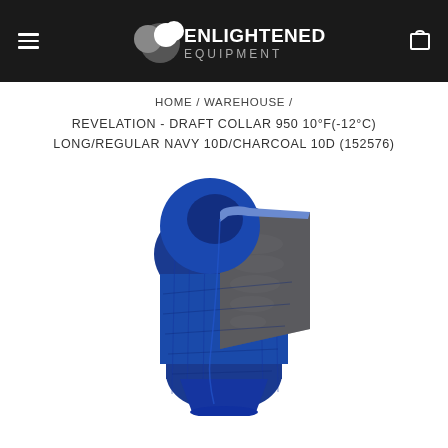ENLIGHTENED EQUIPMENT
HOME / WAREHOUSE /
REVELATION - DRAFT COLLAR 950 10°F(-12°C) LONG/REGULAR NAVY 10D/CHARCOAL 10D (152576)
[Figure (photo): A navy blue mummy-style sleeping bag or quilt shown upright, partially open to reveal a charcoal gray interior lining with down insulation visible.]